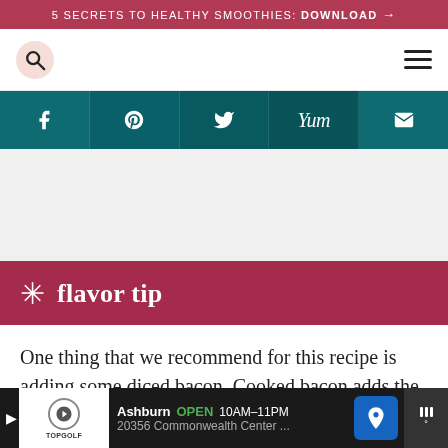5 SECRETS TO HEALTHY SMOOTHIES: DOWNLOAD →
[Figure (screenshot): Navigation bar with search icon (pink circle) on left and hamburger menu on right]
[Figure (screenshot): Social sharing bar with Facebook, Pinterest, Twitter, Yum, and Email icons on dark teal background]
[Figure (screenshot): Advertisement placeholder area (grey)]
✳ flavor tip
One thing that we recommend for this recipe is adding some diced bacon. Cooked bacon adds the
Ashburn OPEN 10AM–11PM 20356 Commonwealth Center ...